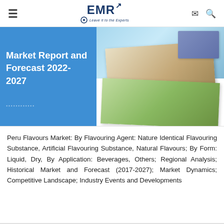EMR - Leave it to the Experts
[Figure (photo): Banner image split into two parts: left blue panel with text 'Market Report and Forecast 2022-2027', right panel with collage of product/nature photos]
Peru Flavours Market: By Flavouring Agent: Nature Identical Flavouring Substance, Artificial Flavouring Substance, Natural Flavours; By Form: Liquid, Dry, By Application: Beverages, Others; Regional Analysis; Historical Market and Forecast (2017-2027); Market Dynamics; Competitive Landscape; Industry Events and Developments